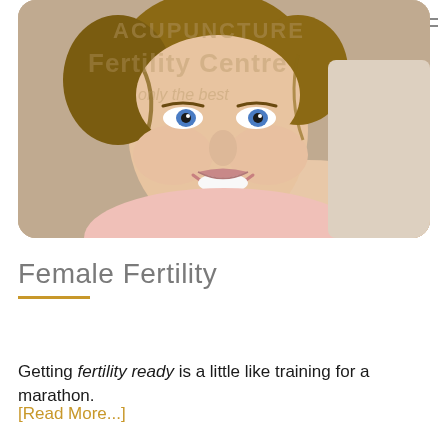[Figure (photo): Smiling woman with blue eyes and light brown upswept hair, wearing a light pink top, lying on a cream/beige sofa. Watermark text overlaid showing 'Acupuncture Fertility Centre only the best'.]
Female Fertility
Getting fertility ready is a little like training for a marathon.
[Read More...]